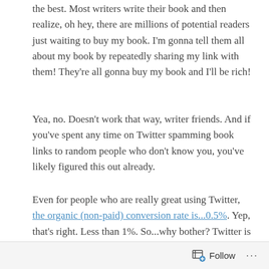the best. Most writers write their book and then realize, oh hey, there are millions of potential readers just waiting to buy my book. I'm gonna tell them all about my book by repeatedly sharing my link with them! They're all gonna buy my book and I'll be rich!
Yea, no. Doesn't work that way, writer friends. And if you've spent any time on Twitter spamming book links to random people who don't know you, you've likely figured this out already.
Even for people who are really great using Twitter, the organic (non-paid) conversion rate is...0.5%. Yep, that's right. Less than 1%. So...why bother? Twitter is a wonderful way to connect with readers, book bloggers, and book reviewers if you are connecting with them strategically. Many writers are completely flummoxed how to do that.
Follow ···